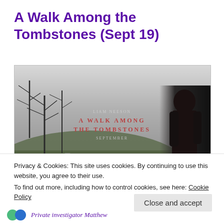A Walk Among the Tombstones (Sept 19)
[Figure (photo): Movie poster for 'A Walk Among the Tombstones' featuring Liam Neeson as a dark figure seen from behind in a cemetery landscape with bare trees. Text on poster reads: LIAM NEESON / A WALK AMONG THE TOMBSTONES / SEPTEMBER]
Privacy & Cookies: This site uses cookies. By continuing to use this website, you agree to their use.
To find out more, including how to control cookies, see here: Cookie Policy
Close and accept
Private investigator Matthew